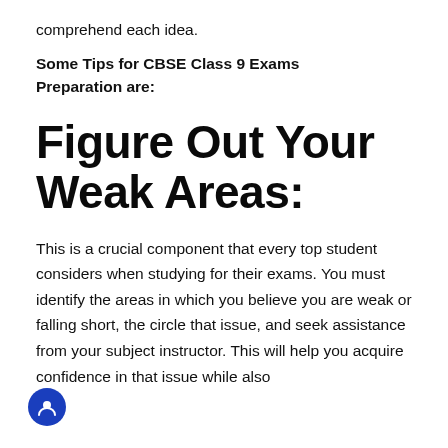comprehend each idea.
Some Tips for CBSE Class 9 Exams Preparation are:
Figure Out Your Weak Areas:
This is a crucial component that every top student considers when studying for their exams. You must identify the areas in which you believe you are weak or falling short, the circle that issue, and seek assistance from your subject instructor. This will help you acquire confidence in that issue while also